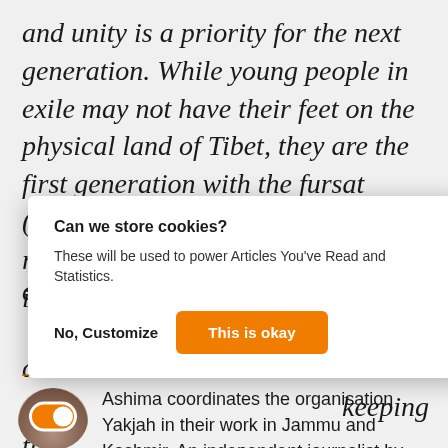and unity is a priority for the next generation. While young people in exile may not have their feet on the physical land of Tibet, they are the first generation with the fursat (time) to strategise for peace and reconciliation. By focusing on inclusivity, [partially obscured] ...nerational ...keeping the ...nce. A new ...
[Figure (screenshot): Cookie consent modal dialog with title 'Can we store cookies?', body text 'These will be used to power Articles You've Read and Statistics.', and two buttons: 'No, Customize' and 'This is okay' (orange button).]
Ashima coordinates the organisation Yakjah in their work in Jammu and Kashmir. An independent journalist by